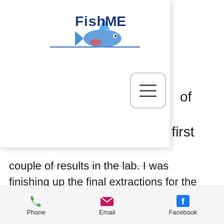[Figure (logo): FishME logo with blue fish/shark silhouette and bold text 'FishME']
[Figure (other): Hamburger menu button - three horizontal lines inside a rounded rectangle border]
couple of results in the lab. I was finishing up the final extractions for the Bd/Bsal swabs from the Pyrenees that were taken during the summer of 2016 and 2017 and then set up these extractions in multiple qPCR runs.  This is when I encountered my first frustration.
Phone   Email   Facebook